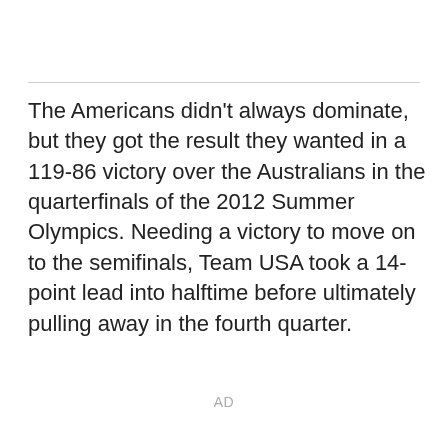The Americans didn't always dominate, but they got the result they wanted in a 119-86 victory over the Australians in the quarterfinals of the 2012 Summer Olympics. Needing a victory to move on to the semifinals, Team USA took a 14-point lead into halftime before ultimately pulling away in the fourth quarter.
AD